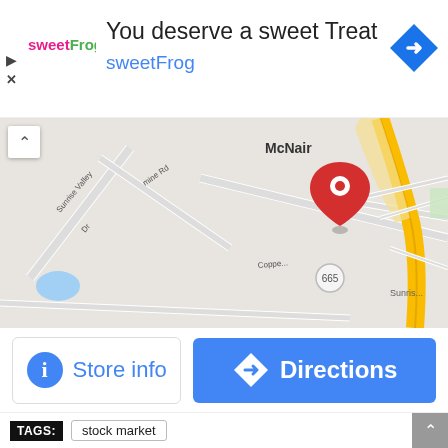[Figure (infographic): sweetFrog advertisement banner: logo on left, headline 'You deserve a sweet Treat', brand name 'sweetFrog' in blue, navigation arrow icon on right, play and close icons on far left]
[Figure (map): Google Maps snippet showing McNair area with Sunrise Valley Dr, Copper Mine Rd, route 665, yellow highlighted roads and a red location pin marker]
Store info
Directions
TAGS: stock market
Related Articles